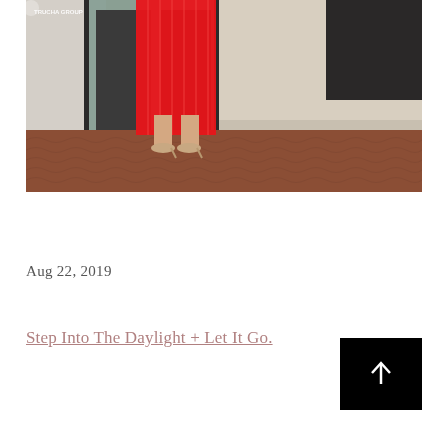[Figure (photo): Photo showing the lower half of a person in a red striped dress and nude heeled sandals standing on a terracotta patterned tile floor in front of a glass building entrance. A small logo reading 'TRUCHA GROUP' is visible in the upper left corner of the image.]
Aug 22, 2019
Step Into The Daylight + Let It Go.